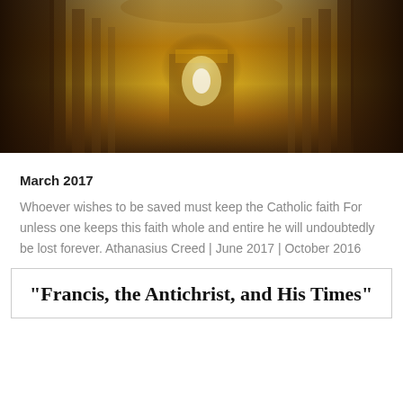[Figure (photo): Interior of a grand Catholic church/basilica, showing ornate golden baroque architecture, tall columns, and a central glowing altar piece (baldachin) at the end of the nave. The image is warm-toned with golden and amber hues.]
March 2017
Whoever wishes to be saved must keep the Catholic faith For unless one keeps this faith whole and entire he will undoubtedly be lost forever. Athanasius Creed | June 2017 | October 2016
“Francis, the Antichrist, and His Times”